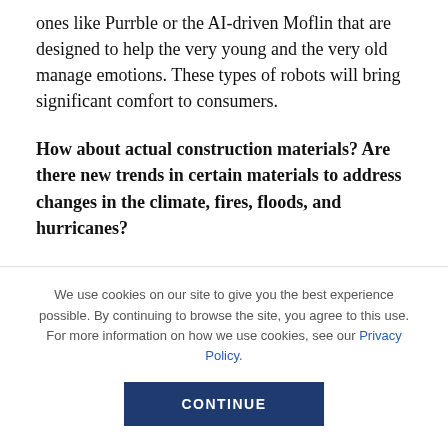ones like Purrble or the AI-driven Moflin that are designed to help the very young and the very old manage emotions. These types of robots will bring significant comfort to consumers.
How about actual construction materials? Are there new trends in certain materials to address changes in the climate, fires, floods, and hurricanes?
There is a huge focus on low-impact living and
We use cookies on our site to give you the best experience possible. By continuing to browse the site, you agree to this use. For more information on how we use cookies, see our Privacy Policy.
CONTINUE